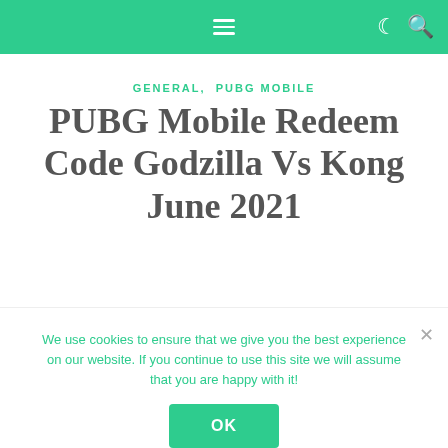≡  ☾  🔍
GENERAL,  PUBG MOBILE
PUBG Mobile Redeem Code Godzilla Vs Kong June 2021
We use cookies to ensure that we give you the best experience on our website. If you continue to use this site we will assume that you are happy with it!